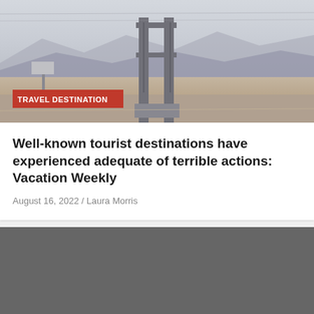[Figure (photo): Photograph of a bridge structure in a desert landscape with mountains in the background; red badge overlay reads TRAVEL DESTINATION]
Well-known tourist destinations have experienced adequate of terrible actions: Vacation Weekly
August 16, 2022 / Laura Morris
[Figure (photo): Dark gray/charcoal background image with a red scroll-to-top button in the bottom right corner showing an upward caret symbol]